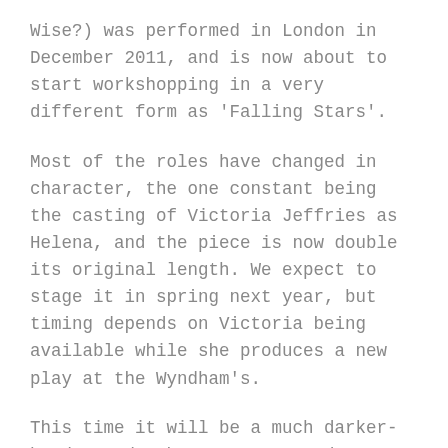Wise?) was performed in London in December 2011, and is now about to start workshopping in a very different form as 'Falling Stars'.
Most of the roles have changed in character, the one constant being the casting of Victoria Jeffries as Helena, and the piece is now double its original length. We expect to stage it in spring next year, but timing depends on Victoria being available while she produces a new play at the Wyndham's.
This time it will be a much darker-hued comedy about success and failure. What I love about the theatre process is the constant tightening and improvement of dialogue, which is something you can't replicate in a novel. There are passages I regret in most of my books, and typos drive me